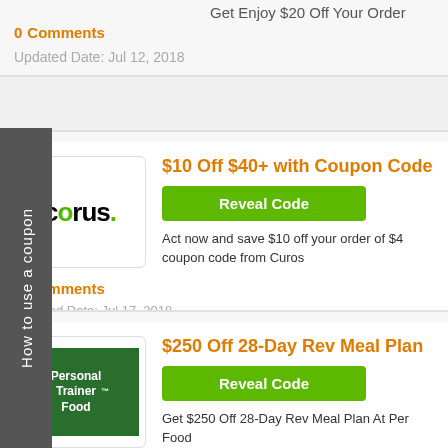Get Enjoy $20 Off Your Order
0 Comments
Updated Date: Jul 12, 2018
$10 Off $40+ with Coupon Code
Reveal Code
Act now and save $10 off your order of $4 coupon code from Curos
0 Comments
Updated Date: Jul 17, 2018
$250 Off 28-Day Rev Meal Plan
Reveal Code
Get $250 Off 28-Day Rev Meal Plan At Per Food
0 Comments
How to use a coupon